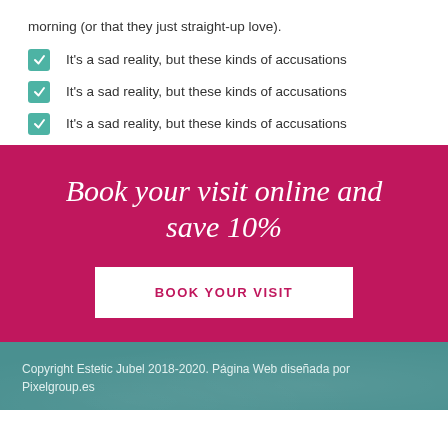morning (or that they just straight-up love).
It's a sad reality, but these kinds of accusations
It's a sad reality, but these kinds of accusations
It's a sad reality, but these kinds of accusations
Book your visit online and save 10%
BOOK YOUR VISIT
Copyright Estetic Jubel 2018-2020. Página Web diseñada por Pixelgroup.es